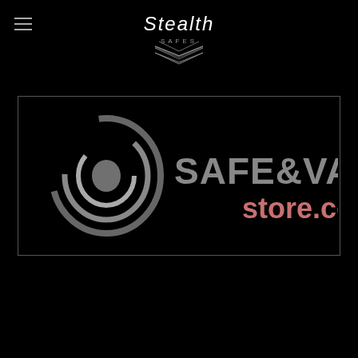Stealth Safes
[Figure (logo): Safe & Vault Store.com logo on black background — swirl graphic on left, 'SAFE&VAULT' in large grey text, 'store.com' in pink/salmon text, inside a thin rectangular border]